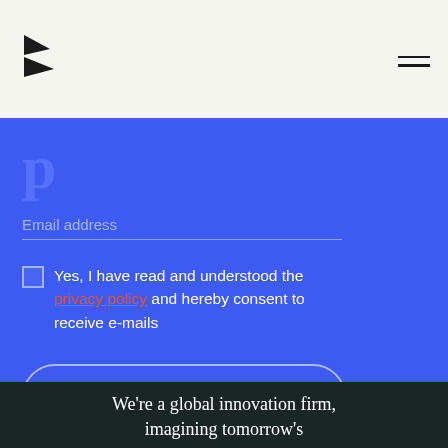[Figure (logo): Stylized angular 'B' or '3' logo mark in dark color on light background, top left]
Email address
Yes, I have read and understood the privacy policy and hereby consent to receive e-mails
Subscribe to our newsletter
We're a global innovation firm, imagining tomorrow's